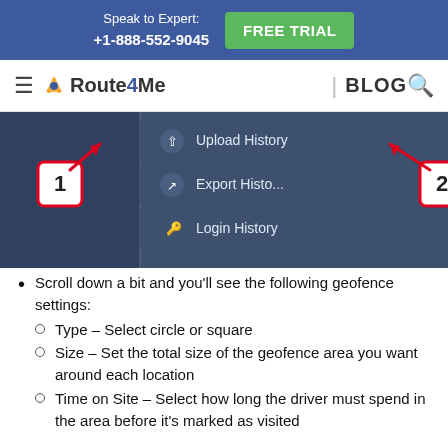Speak to Expert: +1-888-552-9045  FREE TRIAL
Route4Me | BLOG
[Figure (screenshot): Screenshot of a Route4Me navigation menu showing options: Upload History, Export History, Login History, with numbered callout markers 1 and 2 and red arrows pointing to menu items.]
Scroll down a bit and you'll see the following geofence settings:
Type – Select circle or square
Size – Set the total size of the geofence area you want around each location
Time on Site – Select how long the driver must spend in the area before it's marked as visited